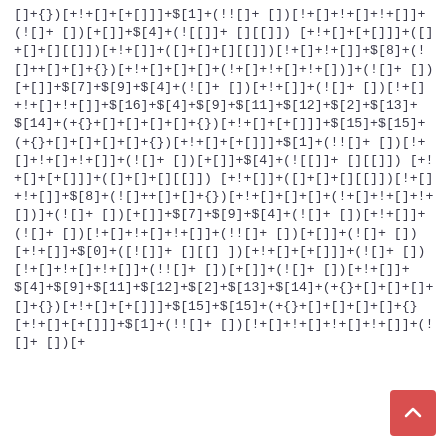[]+{})[+!+[]+[+[]]]+$[1]+(!![]+ [])[!+[]+!+[]+!+[]]+(![]+ [])[+[]]+$[4]+(![]]+[][[]]) [+!+[]+[+[]]]+([]+[]+[][[]]) [+!+[]]+([]+[]+[][[]])[!+[]+ !+[]]+$[8]+(![]++[]+[]+{})[+!+[]+[]+[]+(!+[]+!+[]+!+ [])]+(![]+ [])[+[]]+$[7]+$[9]+$[4]+(![]+ [])[+!+[]]+(![]+ [])[!+[]+!+[]+!+[]]+$[16]+$[4]+$[9]+$[11]+$[12]+$[2]+$[13]+$[14]+(+{}+[]+[]+[]+[]+{})[+!+[]+[+[]]]+$[15]+$[15]+(+{}+[]+[]+[]+[]+{})[+!+[]+[+[]]]+$[1]+(!![]+ [])[!+[]+!+[]+!+[]]+(![]+ [])[+[]]+$[4]+(![]]+[][[]]) [+!+[]+[+[]]]+([]+[]+[][[]] )[+!+[]]+([]+[]+[][[]])[!+[]+ !+[]]+$[8]+(![]++[]+[]+{})[+!+[]+[]+[]+(!+[]+!+[]+!+ [])]+(![]+ [])[+[]]+$[7]+$[9]+$[4]+(![]+ [])[+!+[]]+(![]+ [])[!+[]+!+[]+!+[]]+(!![]+ [])[+[]]+(![]+ [])[+!+[]]+$[0]+([![]]+[][[] ])[+!+[]+[+[]]]+(![]+ [])[!+[]+!+[]+!+[]]+(!![]+ [])[+[]]+(![]+ [])[+!+[]]+$[4]+$[9]+$[11]+$[12]+$[2]+$[13]+$[14]+(+{}+[]+[]+[]+[]+{})[+!+[]+[+[]]]+$[15]+$[15]+(+{}+[]+[]+[]+[]+{}